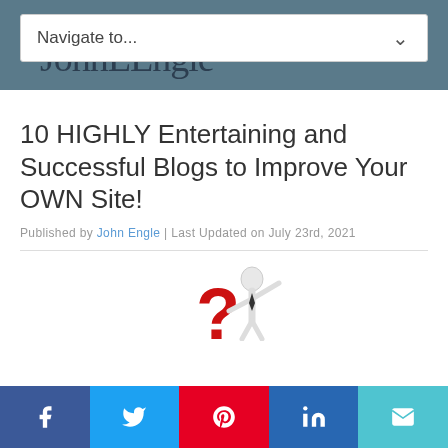JohnEEngle.com
[Figure (screenshot): Navigate to... dropdown menu selector]
10 HIGHLY Entertaining and Successful Blogs to Improve Your OWN Site!
Published by John Engle | Last Updated on July 23rd, 2021
[Figure (illustration): 3D white cartoon figure standing next to a large red question mark with arms outstretched]
[Figure (infographic): Social share buttons row: Facebook, Twitter, Pinterest, LinkedIn, Email]